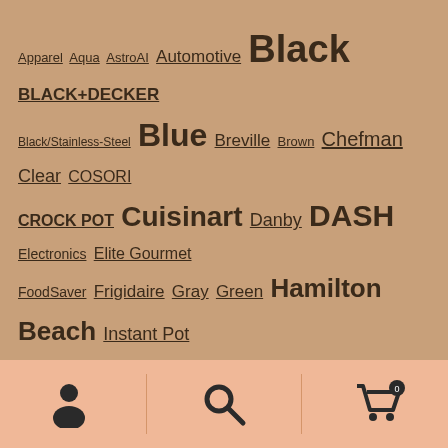Apparel Aqua AstroAI Automotive Black BLACK+DECKER Black/Stainless-Steel Blue Breville Brown Chefman Clear COSORI CROCK POT Cuisinart Danby DASH Electronics Elite Gourmet FoodSaver Frigidaire Gray Green Hamilton Beach Instant Pot Kegco Kitchen KitchenAid Misc. Ninja Nostalgia NutriChef OSTER Pink Presto Product Bundle Red Silver Small Home Appliances Sodastream Stainless Steel Unknown Binding White Yellow Zojirushi
[Figure (other): Bottom navigation bar with three icons: user/person icon, search/magnifying glass icon, and shopping cart icon with badge showing 0]